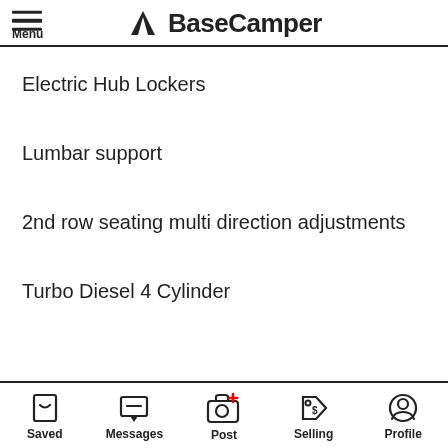BaseCamper
Electric Hub Lockers
Lumbar support
2nd row seating multi direction adjustments
Turbo Diesel 4 Cylinder
Saved | Messages | Post | Selling | Profile